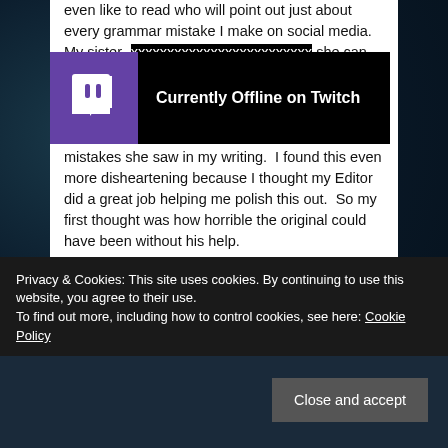even like to read who will point out just about every grammar mistake I make on social media.  My sister- [partially obscured] she can do it all [partially obscured] out bad grammar in my speech.  My mom even pointed out that she thought I had a bad editor, because of the mistakes she saw in my writing.  I found this even more disheartening because I thought my Editor did a great job helping me polish this out.  So my first thought was how horrible the original could have been without his help.
[Figure (screenshot): Twitch 'Currently Offline on Twitch' banner with purple Twitch logo on left and black background with white bold text]
Every time someone points it out, I feel like a hack.  I
Privacy & Cookies: This site uses cookies. By continuing to use this website, you agree to their use.
To find out more, including how to control cookies, see here: Cookie Policy
Close and accept